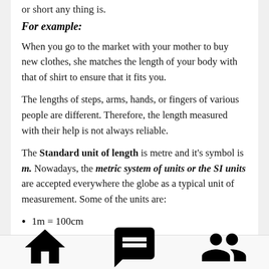or short any thing is.
For example:
When you go to the market with your mother to buy new clothes, she matches the length of your body with that of shirt to ensure that it fits you.
The lengths of steps, arms, hands, or fingers of various people are different. Therefore, the length measured with their help is not always reliable.
The Standard unit of length is metre and it's symbol is m. Nowadays, the metric system of units or the SI units are accepted everywhere the globe as a typical unit of measurement. Some of the units are:
1m = 100cm
Home   Ask Question   Groups